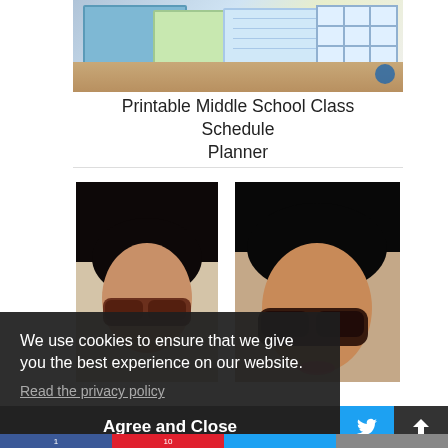[Figure (photo): Printable middle school class schedule planner papers on a wooden surface with colorful borders and table lines]
Printable Middle School Class Schedule Planner
[Figure (photo): Two side-by-side photos of a woman with dark hair and glasses/sunglasses]
We use cookies to ensure that we give you the best experience on our website.
Read the privacy policy
Agree and Close